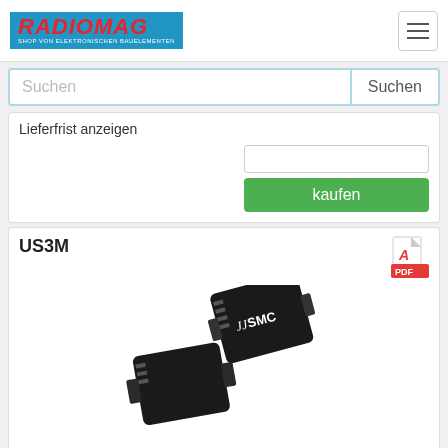RADIOMAG - SHOP VON ELEKTRONISCHEN BAUELEMENTEN
Lieferfrist anzeigen
kaufen
US3M
[Figure (photo): Two SMC package diode components (US3M) shown from different angles, black rectangular surface-mount packages with SMC branding]
Hersteller: DComponents
Description: UF Rect, 1000V, 3.00A, 75ns
Voltage - DC Reverse (Vr) (Max): 1000 V